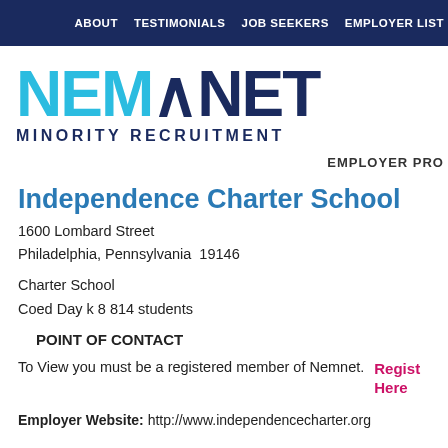ABOUT   TESTIMONIALS   JOB SEEKERS   EMPLOYER LIST
[Figure (logo): NEMNET MINORITY RECRUITMENT logo — NEM in cyan/light blue, NET in dark navy, with arrow chevron in dark navy between them. Subtitle: MINORITY RECRUITMENT in dark navy caps.]
EMPLOYER PRO
Independence Charter School
1600 Lombard Street
Philadelphia, Pennsylvania  19146
Charter School
Coed Day k 8 814 students
POINT OF CONTACT
To View you must be a registered member of Nemnet.
Register Here
Employer Website: http://www.independencecharter.org